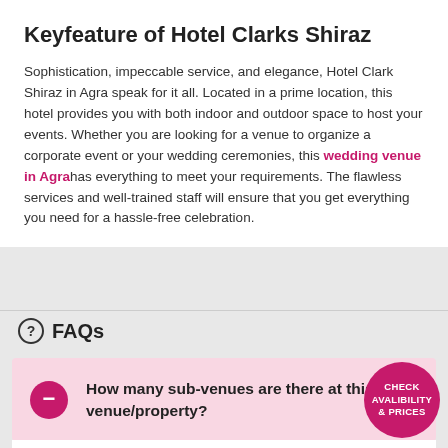Keyfeature of Hotel Clarks Shiraz
Sophistication, impeccable service, and elegance, Hotel Clark Shiraz in Agra speak for it all. Located in a prime location, this hotel provides you with both indoor and outdoor space to host your events. Whether you are looking for a venue to organize a corporate event or your wedding ceremonies, this wedding venue in Agra has everything to meet your requirements. The flawless services and well-trained staff will ensure that you get everything you need for a hassle-free celebration.
FAQs
How many sub-venues are there at this venue/property?
3